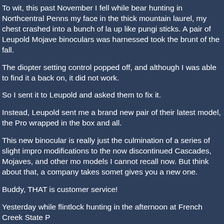To wit, this past November I fell while bear hunting in Northcentral Penns… my face in the thick mountain laurel, my chest crashed into a bunch of la… up like pungi sticks. A pair of Leupold Mojave binoculars was harnessed … took the brunt of the fall.
The diopter setting control popped off, and although I was able to find it a… back on, it did not work.
So I sent it to Leupold and asked them to fix it.
Instead, Leupold sent me a brand new pair of their latest model, the Pro … wrapped in the box and all.
This new binocular is really just the culmination of a series of slight impro… modifications to the now discontinued Cascades, Mojaves, and other mo… models I cannot recall now. But think about that, a company takes somet… gives you a new one.
Buddy, THAT is customer service!
Yesterday while flintlock hunting in the afternoon at French Creek State P…